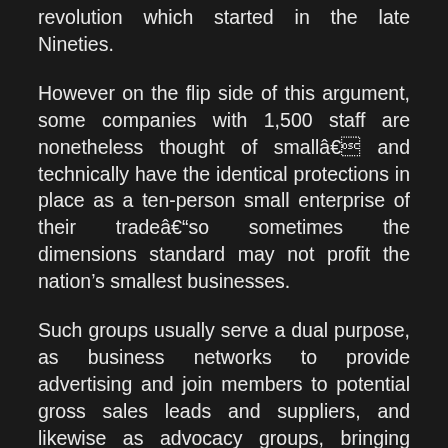revolution which started in the late Nineties.
However on the flip side of this argument, some companies with 1,500 staff are nonetheless thought of smallâ€ and technically have the identical protections in place as a ten-person small enterprise of their tradeâ€“so sometimes the dimensions standard may not profit the nation’s smallest businesses.
Such groups usually serve a dual purpose, as business networks to provide advertising and join members to potential gross sales leads and suppliers, and likewise as advocacy groups, bringing collectively many small businesses to provide a stronger voice in regional or nationwide politics Within the case of impartial business alliances, selling the worth of locally owned, impartial business (not necessarily small) through public training campaigns is integral to their